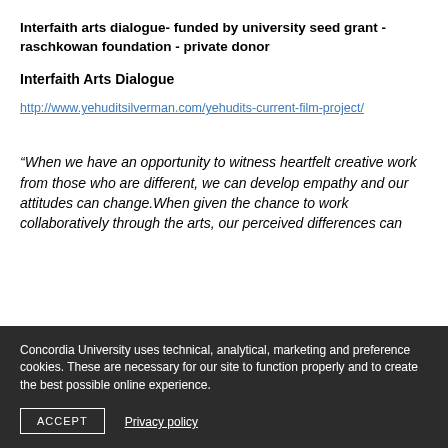Interfaith arts dialogue- funded by university seed grant - raschkowan foundation - private donor
Interfaith Arts Dialogue
http://www.yehuditsilverman.com/yehudits-current-film-project/
“When we have an opportunity to witness heartfelt creative work from those who are different, we can develop empathy and our attitudes can change.When given the chance to work collaboratively through the arts, our perceived differences can
Concordia University uses technical, analytical, marketing and preference cookies. These are necessary for our site to function properly and to create the best possible online experience.
ACCEPT
Privacy policy